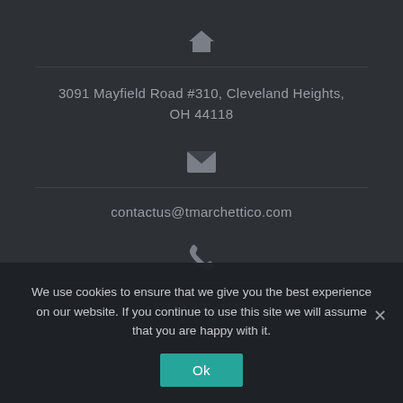[Figure (illustration): House/home icon in grey]
3091 Mayfield Road #310, Cleveland Heights, OH 44118
[Figure (illustration): Envelope/email icon in grey]
contactus@tmarchettico.com
[Figure (illustration): Phone handset icon in grey]
(216) 321-4162
We use cookies to ensure that we give you the best experience on our website. If you continue to use this site we will assume that you are happy with it.